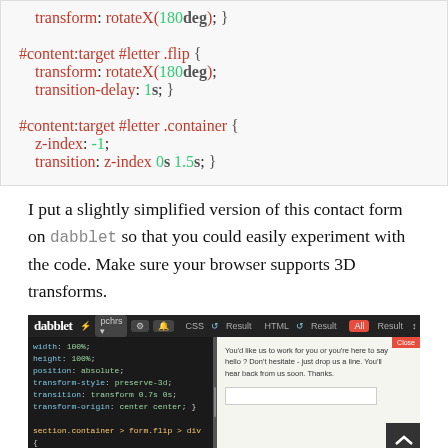transform: rotateX(180deg); }

#content:target #letter .flip {
    transform: rotateX(180deg);
    transition-delay: 1s; }

#content:target #letter .container {
    z-index: -1;
    transition: z-index 0s 1.5s; }
I put a slightly simplified version of this contact form on dabblet so that you could easily experiment with the code. Make sure your browser supports 3D transforms.
[Figure (screenshot): Screenshot of the dabblet.com interface showing CSS code on the left panel and a rendered contact form preview on the right panel.]